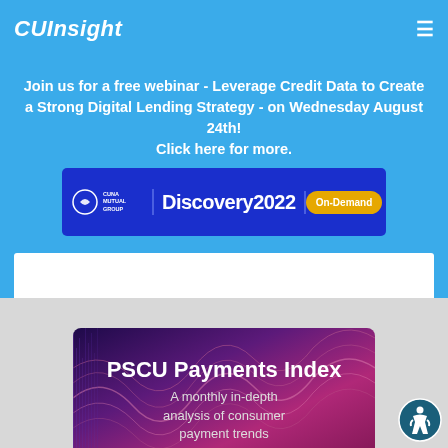CUInsight
Join us for a free webinar - Leverage Credit Data to Create a Strong Digital Lending Strategy - on Wednesday August 24th! Click here for more.
[Figure (logo): CUNA Mutual Group Discovery 2022 On-Demand advertisement banner]
[Figure (illustration): PSCU Payments Index - A monthly in-depth analysis of consumer payment trends promotional image with purple/pink gradient background and wave lines]